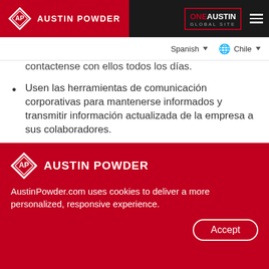AUSTIN POWDER | ONE AUSTIN GLOBAL SITE
contactense con ellos todos los días.
Usen las herramientas de comunicación corporativas para mantenerse informados y transmitir información actualizada de la empresa a sus colaboradores.
Pregunten a sus colaboradores por sus familias y si tienen todo lo que necesitan.
AustinPowder.com uses cookies to deliver a more personalized, responsive experience.